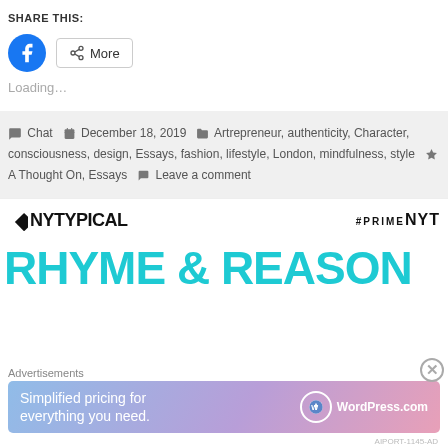SHARE THIS:
[Figure (screenshot): Facebook share button (blue circle with F icon) and More button with share icon]
Loading…
Chat  December 18, 2019  Artrepreneur, authenticity, Character, consciousness, design, Essays, fashion, lifestyle, London, mindfulness, style  A Thought On, Essays  Leave a comment
[Figure (logo): NYTYPICAL logo with diamond/X shape on left and #PRIMENYT on the right]
RHYME & REASON
Advertisements
[Figure (screenshot): WordPress.com advertisement banner: Simplified pricing for everything you need. WordPress.com]